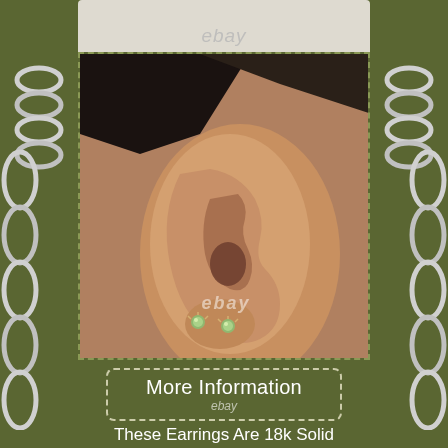[Figure (photo): Partial top image with eBay watermark on cream/beige background, bottom portion visible]
[Figure (photo): Close-up photo of a woman's ear showing two small green opal stud earrings, with dark hair and skin-tone background, eBay watermark overlay]
More Information
ebay
View Price
ebay
These Earrings Are 18k Solid